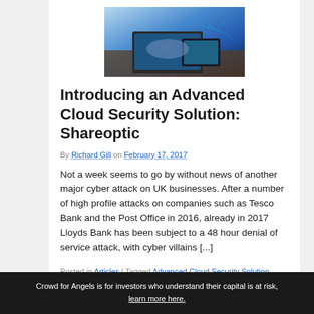[Figure (photo): Person typing on laptop with digital tablet and blue cyber/technology overlay graphics]
Introducing an Advanced Cloud Security Solution: Shareoptic
By Richard Gill on February 17, 2017
Not a week seems to go by without news of another major cyber attack on UK businesses. After a number of high profile attacks on companies such as Tesco Bank and the Post Office in 2016, already in 2017 Lloyds Bank has been subject to a 48 hour denial of service attack, with cyber villains [...]
Posted in Articles | Tagged Advanced Cloud Security Solution, Crowd for Angels, cyber attack, Investment, pitch, Shareoptic |
Leave a response
Crowd for Angels is for investors who understand their capital is at risk, learn more here.